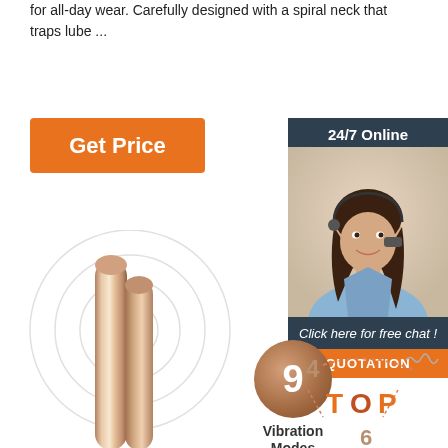for all-day wear. Carefully designed with a spiral neck that traps lube ...
[Figure (other): Orange 'Get Price' button]
[Figure (other): 24/7 Online customer support panel with a woman wearing a headset, 'Click here for free chat!' text, and an orange QUOTATION button]
[Figure (other): Product image with concentric circles in background, rose gold metallic product]
[Figure (infographic): Circle badge showing '9 Vibration Modes']
[Figure (infographic): Infographic element showing '4 TOP 6' with dotted graph pattern]